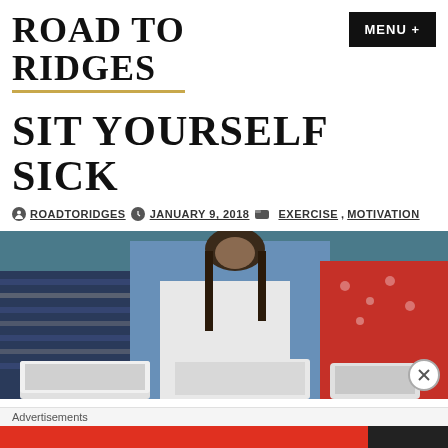ROAD TO RIDGES
SIT YOURSELF SICK
ROADTORIDGES  JANUARY 9, 2018  EXERCISE, MOTIVATION
[Figure (photo): Three people sitting on a couch with laptops and tablets]
Advertisements